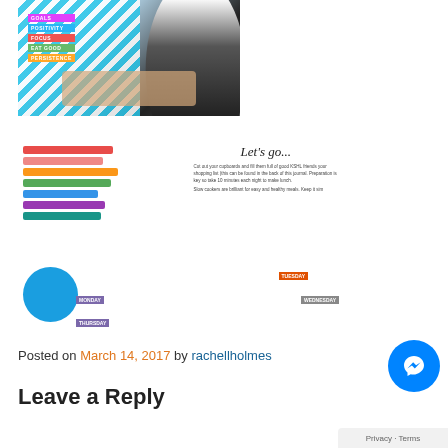[Figure (photo): Woman holding a colorful journal/planner with words GOALS, POSITIVITY, FOCUS, EAT GOOD, PERSISTENCE on striped blue and white cover]
[Figure (photo): Open journal/planner showing colored bars, a blue circle, Let's go... heading, instructional text, and day labels MONDAY, TUESDAY, THURSDAY]
Posted on March 14, 2017 by rachellholmes
Leave a Reply